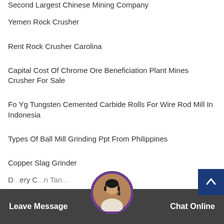Second Largest Chinese Mining Company
Yemen Rock Crusher
Rent Rock Crusher Carolina
Capital Cost Of Chrome Ore Beneficiation Plant Mines Crusher For Sale
Fo Yg Tungsten Cemented Carbide Rolls For Wire Rod Mill In Indonesia
Types Of Ball Mill Grinding Ppt From Philippines
Copper Slag Grinder
D...ry C...n Tan...
Leave Message   Chat Online